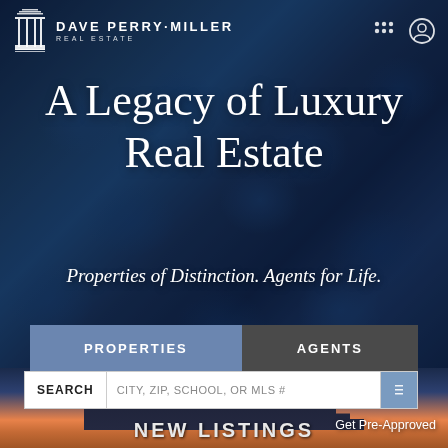[Figure (screenshot): Dave Perry-Miller Real Estate website screenshot showing a luxury real estate homepage with dark blue hydrangea flower background, navigation bar with logo, hero title text, search bar, and city skyline at bottom]
DAVE PERRY·MILLER REAL ESTATE
A Legacy of Luxury Real Estate
Properties of Distinction. Agents for Life.
PROPERTIES
AGENTS
SEARCH CITY, ZIP, SCHOOL, OR MLS #
Get Pre-Approved
NEW LISTINGS